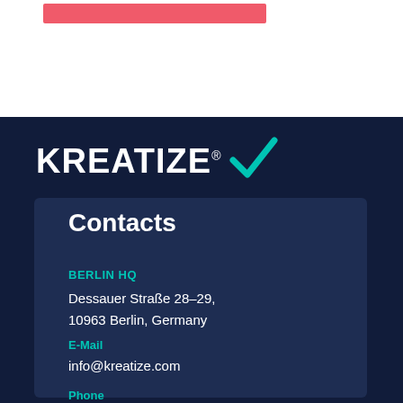[Figure (logo): Red horizontal bar decorative element at top]
[Figure (logo): KREATIZE logo with checkmark on dark navy background]
Contacts
BERLIN HQ
Dessauer Straße 28–29, 10963 Berlin, Germany
E-Mail
info@kreatize.com
Phone